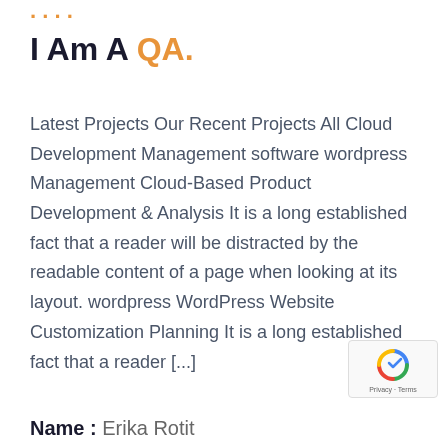I Am A QA.
Latest Projects Our Recent Projects All Cloud Development Management software wordpress Management Cloud-Based Product Development & Analysis It is a long established fact that a reader will be distracted by the readable content of a page when looking at its layout. wordpress WordPress Website Customization Planning It is a long established fact that a reader [...]
Name: Erika Rotit